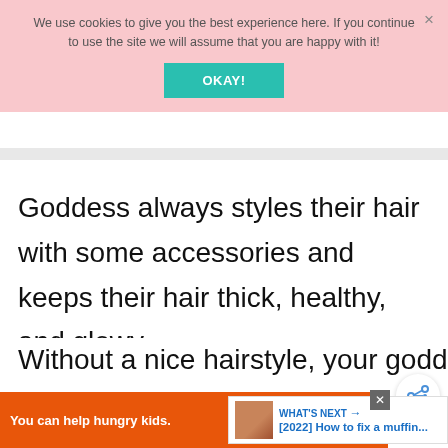We use cookies to give you the best experience here. If you continue to use the site we will assume that you are happy with it!
OKAY!
Goddess always styles their hair with some accessories and keeps their hair thick, healthy, and glowy.
Without a nice hairstyle, your goddess look will be missing a
[Figure (screenshot): Share button icon (circular button with share symbol)]
WHAT'S NEXT → [2022] How to fix a muffin...
You can help hungry kids.
NOKID HUNGRY
LEARN HOW